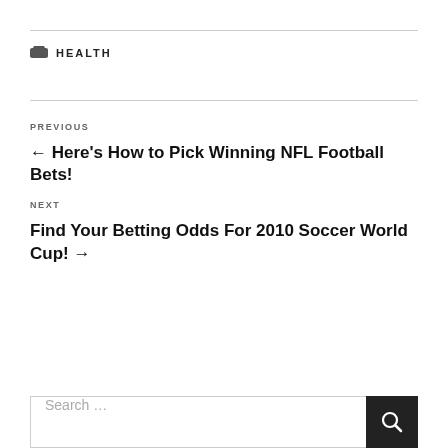HEALTH
PREVIOUS
← Here's How to Pick Winning NFL Football Bets!
NEXT
Find Your Betting Odds For 2010 Soccer World Cup! →
Search …